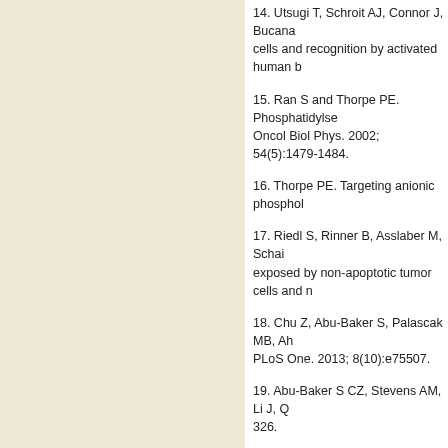14. Utsugi T, Schroit AJ, Connor J, Bucana... cells and recognition by activated human b...
15. Ran S and Thorpe PE. Phosphatidylse... Oncol Biol Phys. 2002; 54(5):1479-1484.
16. Thorpe PE. Targeting anionic phosphol...
17. Riedl S, Rinner B, Asslaber M, Schai... exposed by non-apoptotic tumor cells and m...
18. Chu Z, Abu-Baker S, Palascak MB, Ah... PLoS One. 2013; 8(10):e75507.
19. Abu-Baker S CZ, Stevens AM, Li J, Q... 326.
20. Maeda H, Wu J, Sawa T, Matsumura Y... Control Release. 2000; 65(1-2):271-284.
21. Jenkins DE, Hornig YS, Oei Y, Dusic... detection of mammary tumors and multiple...
22. Kienast Y, von Baumgarten L, Fuhrma... brain metastasis formation. Nat Med. 2010;...
23. Ballinger WE, Jr. and Schimpff RD. A...